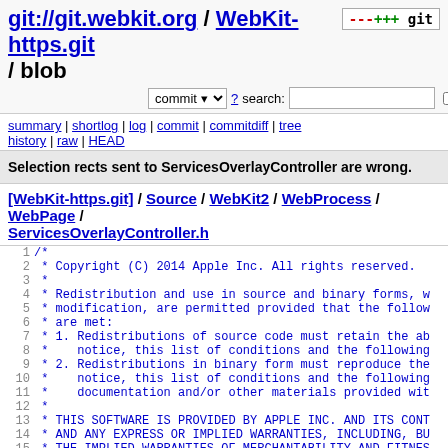git://git.webkit.org / WebKit-https.git / blob
commit ? search: re
summary | shortlog | log | commit | commitdiff | tree history | raw | HEAD
Selection rects sent to ServicesOverlayController are wrong.
[WebKit-https.git] / Source / WebKit2 / WebProcess / WebPage / ServicesOverlayController.h
1 /*
2  * Copyright (C) 2014 Apple Inc. All rights reserved.
3  *
4  * Redistribution and use in source and binary forms, w
5  * modification, are permitted provided that the follow
6  * are met:
7  * 1. Redistributions of source code must retain the ab
8  *    notice, this list of conditions and the following
9  * 2. Redistributions in binary form must reproduce the
10  *    notice, this list of conditions and the following
11  *    documentation and/or other materials provided wit
12  *
13  * THIS SOFTWARE IS PROVIDED BY APPLE INC. AND ITS CONT
14  * AND ANY EXPRESS OR IMPLIED WARRANTIES, INCLUDING, BU
15  * THE IMPLIED WARRANTIES OF MERCHANTABILITY AND FITNES
16  * PURPOSE ARE DISCLAIMED. IN NO EVENT SHALL APPLE INC.
17  * BE LIABLE FOR ANY DIRECT, INDIRECT, INCIDENTAL, SPEC
18  * CONSEQUENTIAL DAMAGES (INCLUDING, BUT NOT LIMITED TO